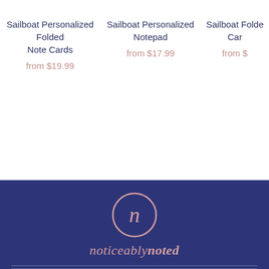Sailboat Personalized Folded Note Cards
from $19.99
Sailboat Personalized Notepad
from $17.99
Sailboat Folded Car...
from $...
[Figure (logo): noticeablynoted brand logo with pink circle containing letter n and script brand name below]
Address Labels
Cards
Notepads